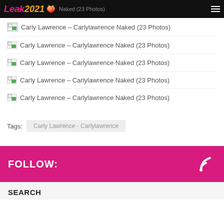Leak 2021 [emoji] Naked (23 Photos)
Carly Lawrence – Carlylawrence Naked (23 Photos)
Carly Lawrence – Carlylawrence Naked (23 Photos)
Carly Lawrence – Carlylawrence Naked (23 Photos)
Carly Lawrence – Carlylawrence Naked (23 Photos)
Carly Lawrence – Carlylawrence Naked (23 Photos)
Tags: Carly Lawrence - Carlylawrence
FOLLOW:
SEARCH